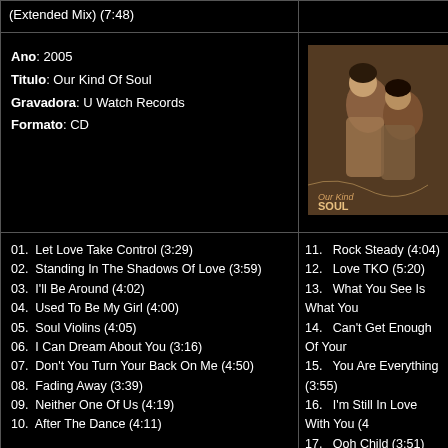(Extended Mix) (7:48)
Ano: 2005
Titulo: Our Kind Of Soul
Gravadora: U Watch Records
Formato: CD
[Figure (photo): Album cover for Our Kind Of Soul (2005)]
01. Let Love Take Control (3:29)
02. Standing In The Shadows Of Love (3:59)
03. I'll Be Around (4:02)
04. Used To Be My Girl (4:00)
05. Soul Violins (4:05)
06. I Can Dream About You (3:16)
07. Don't You Turn Your Back On Me (4:50)
08. Fading Away (3:39)
09. Neither One Of Us (4:19)
10. After The Dance (4:11)
11. Rock Steady (4:04)
12. Love TKO (5:20)
13. What You See Is What You...
14. Can't Get Enough Of Your...
15. You Are Everything (3:55)
16. I'm Still In Love With You (4...
17. Ooh Child (3:51)
18. I'll Be Around (Single Edit)
19. I Can Dream About You (S...
Ano: 2006
Titulo: Home For Christmas
Gravadora: DKE Records
[Figure (photo): Album cover for Home For Christmas (2006)]